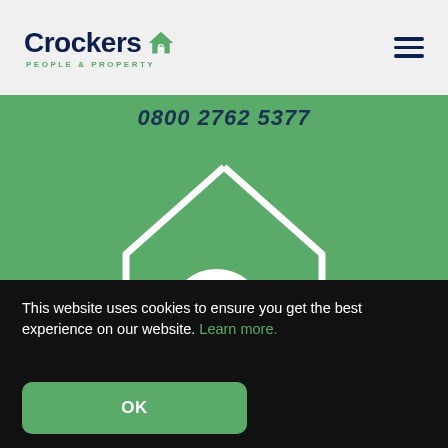[Figure (logo): Crockers People & Property logo with house icon, dark navy text, green accent]
[Figure (illustration): Hamburger menu icon (three navy horizontal lines) in top right of header]
0800 2762 5377
[Figure (logo): Crockers house/C logo icon in white outline on green background, centered in green section]
This website uses cookies to ensure you get the best experience on our website. Learn more.
OK